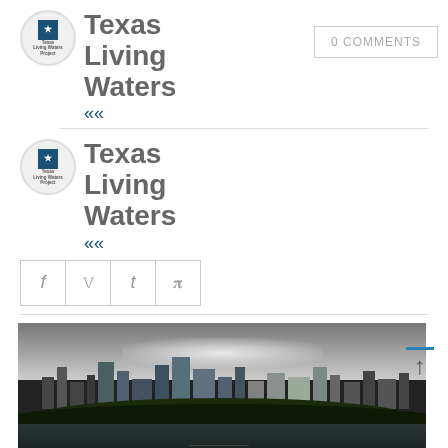[Figure (logo): Texas Living Waters Project logo with author name 'Texas Living Waters' and chevron icon, alongside '0 COMMENTS' button]
[Figure (logo): Texas Living Waters Project logo with author name 'Texas Living Waters' and chevron icon (second instance)]
[Figure (other): Social share icons row: Facebook (f), Twitter (bird/y), Tumblr (t), Pinterest (p)]
[Figure (photo): Houston city skyline viewed from a river, with dark trees in foreground and dramatic cloudy sky]